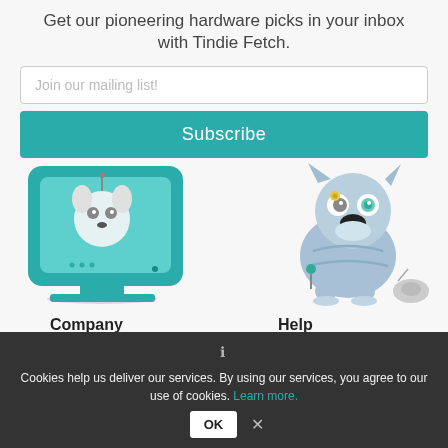Get our pioneering hardware picks in your inbox with Tindie Fetch.
Join our mailing list!
Subscribe
[Figure (illustration): Two cartoon robot/dog illustrations: left side shows a teal computer monitor with a robot dog face peeking out; right side shows a blue robot dog sitting with electronic components]
Company
About Tindie
Help
FAQs
Cookies help us deliver our services. By using our services, you agree to our use of cookies. Learn more. OK